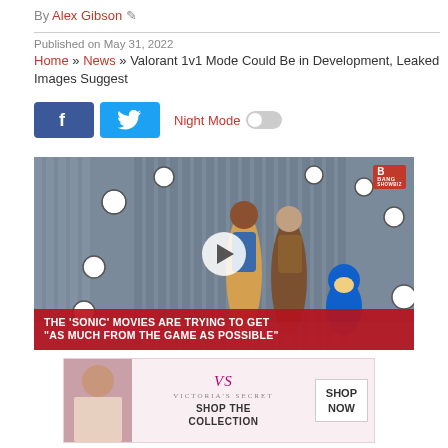By Alex Gibson
Published on May 31, 2022
Home » News » Valorant 1v1 Mode Could Be in Development, Leaked Images Suggest
[Figure (other): Social share buttons: Facebook (blue) and Twitter (light blue), plus Night Mode toggle]
[Figure (photo): Video thumbnail showing two actors and Sonic the Hedgehog character surrounded by soccer balls in front of a metal wall. Overlay text reads: THE 'SONIC' MOVIES ARE TRYING TO GET "AS MUCH FROM THE GAME AS POSSIBLE". Bang Showbiz logo visible top right. Play button overlay in center.]
[Figure (other): Victoria's Secret advertisement banner: Shop The Collection, Shop Now button]